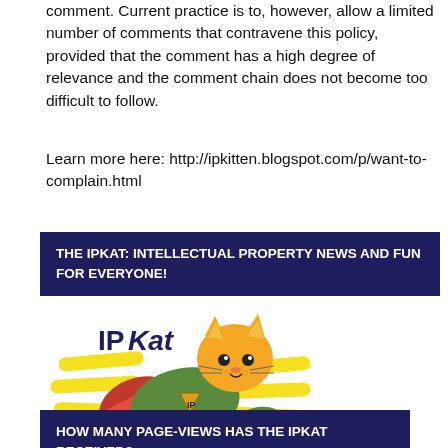comment. Current practice is to, however, allow a limited number of comments that contravene this policy, provided that the comment has a high degree of relevance and the comment chain does not become too difficult to follow.
Learn more here: http://ipkitten.blogspot.com/p/want-to-complain.html
THE IPKAT: INTELLECTUAL PROPERTY NEWS AND FUN FOR EVERYONE!
[Figure (illustration): IPKat logo: a cartoon superhero cat flying with 'IPKat' text and yellow swoosh lines, wearing a green outfit with red cape and a triangle with 'IP' on its chest]
HOW MANY PAGE-VIEWS HAS THE IPKAT RECEIVED?